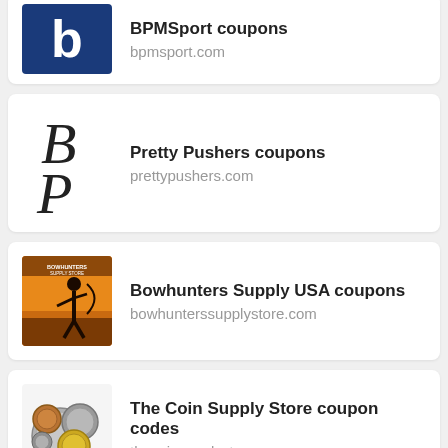BPMSport coupons
bpmsport.com
Pretty Pushers coupons
prettypushers.com
Bowhunters Supply USA coupons
bowhunterssupplystore.com
The Coin Supply Store coupon codes
thecoinsupplystore.com